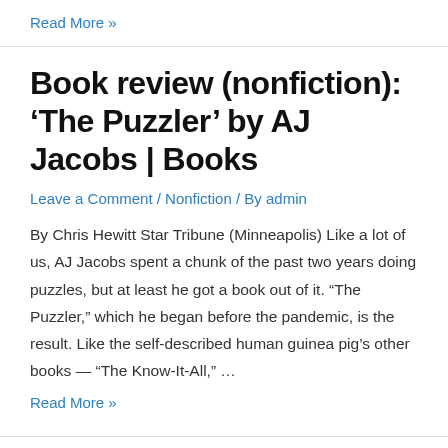Read More »
Book review (nonfiction): ‘The Puzzler’ by AJ Jacobs | Books
Leave a Comment / Nonfiction / By admin
By Chris Hewitt Star Tribune (Minneapolis) Like a lot of us, AJ Jacobs spent a chunk of the past two years doing puzzles, but at least he got a book out of it. “The Puzzler,” which he began before the pandemic, is the result. Like the self-described human guinea pig’s other books — “The Know-It-All,” …
Read More »
NON-FICTION: PAKISTANI